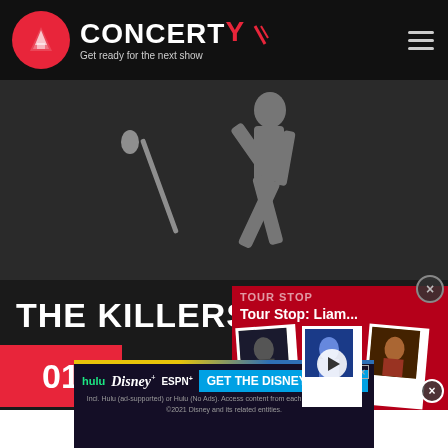CONCERTY - Get ready for the next show
[Figure (illustration): Silhouette of a performer with a microphone stand against dark background]
THE KILLERS
01 MADISON NEW YORK CITY, NY
[Figure (screenshot): Tour Stop: Liam... overlay with polaroid-style photos of artists and a play button]
[Figure (infographic): Disney Bundle advertisement: hulu Disney+ ESPN+ GET THE DISNEY BUNDLE. Incl. Hulu (ad-supported) or Hulu (No Ads). Access content from each service separately. ©2021 Disney and its related entities.]